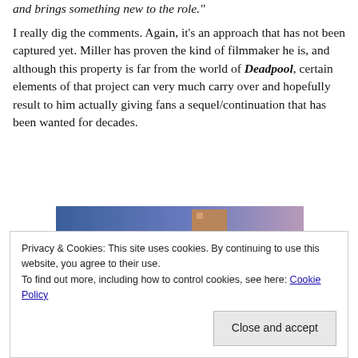and brings something new to the role."
I really dig the comments. Again, it's an approach that has not been captured yet. Miller has proven the kind of filmmaker he is, and although this property is far from the world of Deadpool, certain elements of that project can very much carry over and hopefully result to him actually giving fans a sequel/continuation that has been wanted for decades.
[Figure (photo): Partial image showing a gradient background of blue and purple hues with a brown/tan rectangular object partially visible in the upper right area.]
Privacy & Cookies: This site uses cookies. By continuing to use this website, you agree to their use.
To find out more, including how to control cookies, see here: Cookie Policy
Close and accept